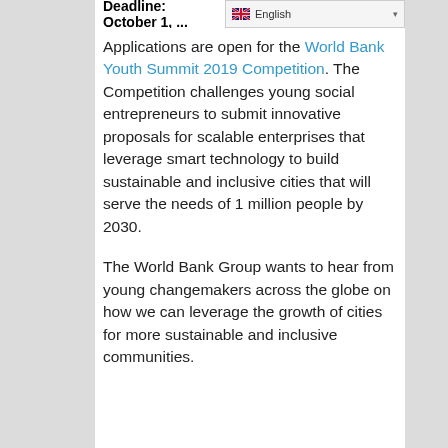Deadline: October 1, ...
Applications are open for the World Bank Youth Summit 2019 Competition. The Competition challenges young social entrepreneurs to submit innovative proposals for scalable enterprises that leverage smart technology to build sustainable and inclusive cities that will serve the needs of 1 million people by 2030.
The World Bank Group wants to hear from young changemakers across the globe on how we can leverage the growth of cities for more sustainable and inclusive communities.